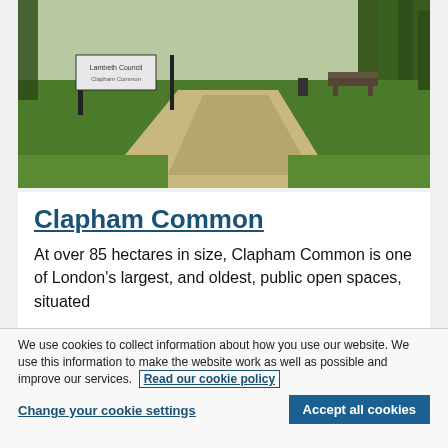[Figure (photo): Photo of Clapham Common park showing green grass, a path, trees, benches, and a park sign in the background]
Clapham Common
At over 85 hectares in size, Clapham Common is one of London’s largest, and oldest, public open spaces, situated
We use cookies to collect information about how you use our website. We use this information to make the website work as well as possible and improve our services. Read our cookie policy
Change your cookie settings
Accept all cookies